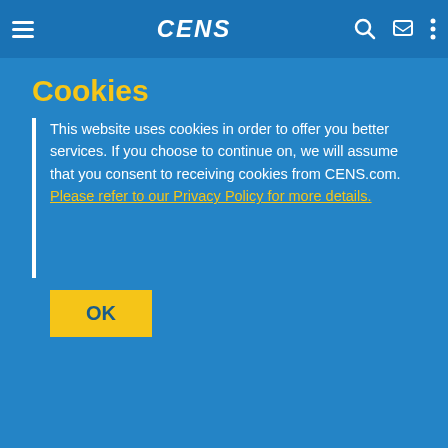CENS
Cookies
This website uses cookies in order to offer you better services. If you choose to continue on, we will assume that you consent to receiving cookies from CENS.com. Please refer to our Privacy Policy for more details.
OK
[Figure (logo): Social media icons: Facebook, LinkedIn, YouTube]
Get to Know Us
Services & Products
About Us
Global Buyers' Most Trusted Taiwan Supplier Platform
Trade Magazines / eBooks
[Figure (screenshot): App Store download button and Google Play download button for CENS app]
[Figure (logo): CENS app icon - blue globe logo]
Follow us on LinkedIn
Global Trade Shows